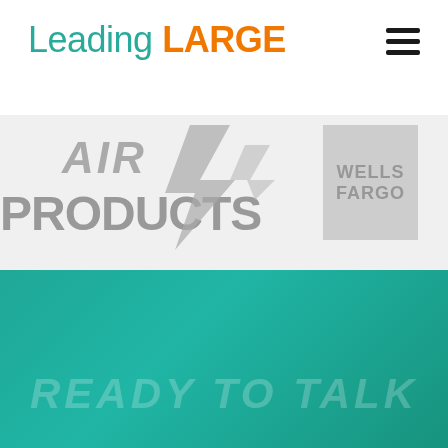Leading LARGE
[Figure (logo): Air Products logo - partially visible, grey/faded]
[Figure (logo): Wells Fargo logo - grey box with WELLS FARGO text]
[Figure (illustration): Teal/green gradient background section with faint italic text reading READY TO TALK]